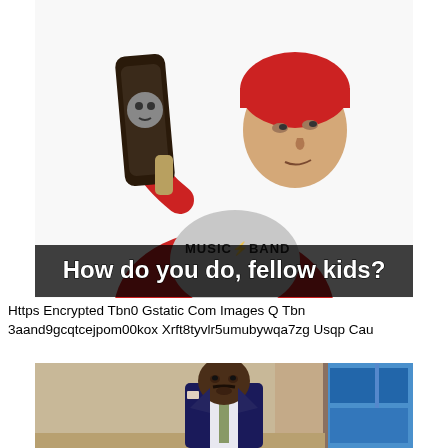[Figure (photo): Meme image of Steve Buscemi wearing a red beanie hat and red hoodie, carrying a skateboard over his shoulder, with text overlay reading 'How do you do, fellow kids?']
Https Encrypted Tbn0 Gstatic Com Images Q Tbn 3aand9gcqtcejpom00kox Xrft8tyvlr5umubywqa7zg Usqp Cau
[Figure (photo): Image of Steve Harvey wearing a navy suit, looking surprised or bewildered, on a talk show set with blue windows and tan walls in the background.]